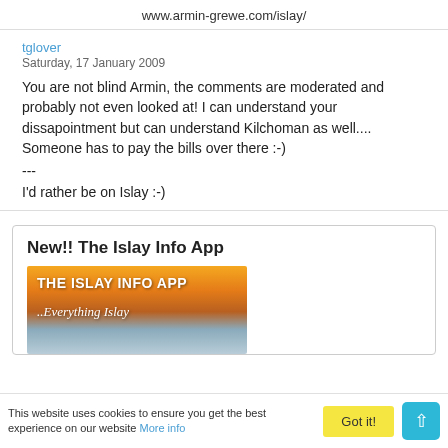www.armin-grewe.com/islay/
tglover
Saturday, 17 January 2009

You are not blind Armin, the comments are moderated and probably not even looked at! I can understand your dissapointment but can understand Kilchoman as well.... Someone has to pay the bills over there :-)
---
I'd rather be on Islay :-)
New!! The Islay Info App
[Figure (photo): Banner image for The Islay Info App showing sunset/landscape with text 'THE ISLAY INFO APP' and 'Everything Islay']
This website uses cookies to ensure you get the best experience on our website More info